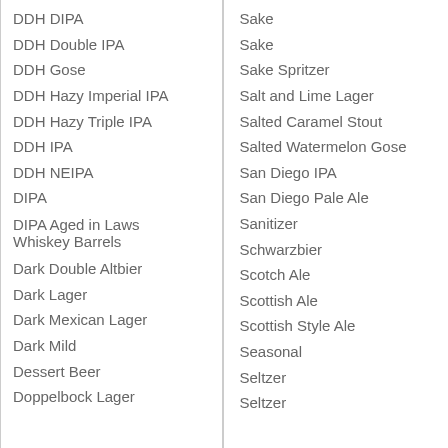DDH DIPA
DDH Double IPA
DDH Gose
DDH Hazy Imperial IPA
DDH Hazy Triple IPA
DDH IPA
DDH NEIPA
DIPA
DIPA Aged in Laws Whiskey Barrels
Dark Double Altbier
Dark Lager
Dark Mexican Lager
Dark Mild
Dessert Beer
Doppelbock Lager
Sake
Sake
Sake Spritzer
Salt and Lime Lager
Salted Caramel Stout
Salted Watermelon Gose
San Diego IPA
San Diego Pale Ale
Sanitizer
Schwarzbier
Scotch Ale
Scottish Ale
Scottish Style Ale
Seasonal
Seltzer
Seltzer